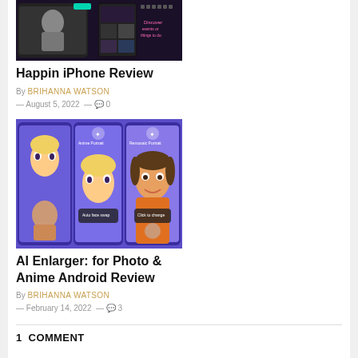[Figure (screenshot): Happin app screenshot showing event discovery interface with dark background and phone mockups]
Happin iPhone Review
By BRIHANNA WATSON — August 5, 2022 — 0
[Figure (screenshot): AI Enlarger app screenshot showing anime and portrait photo enhancement on purple background with phone mockups]
AI Enlarger: for Photo & Anime Android Review
By BRIHANNA WATSON — February 14, 2022 — 3
1  COMMENT